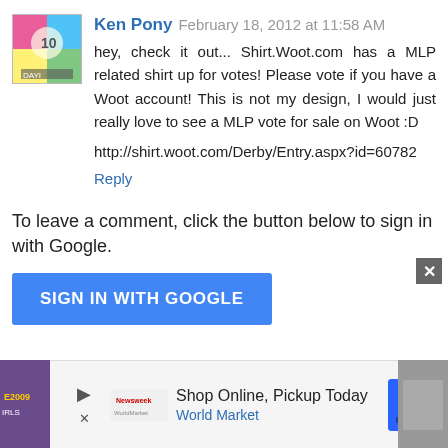[Figure (illustration): Avatar image for Ken Pony — colorful cartoon pony illustration with pink, blue, yellow, and green colors]
Ken Pony  February 18, 2012 at 11:58 AM
hey, check it out... Shirt.Woot.com has a MLP related shirt up for votes! Please vote if you have a Woot account! This is not my design, I would just really love to see a MLP vote for sale on Woot :D

http://shirt.woot.com/Derby/Entry.aspx?id=60782

Reply
To leave a comment, click the button below to sign in with Google.
SIGN IN WITH GOOGLE
Load more...
[Figure (screenshot): Advertisement banner: Shop Online, Pickup Today — World Market, with navigation arrow icon]